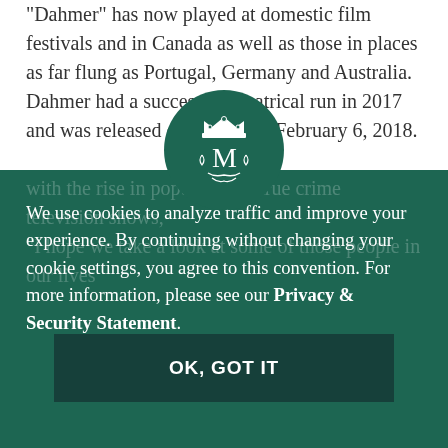"Dahmer" has now played at domestic film festivals and in Canada as well as those in places as far flung as Portugal, Germany and Australia. Dahmer had a successful theatrical run in 2017 and was released on iTunes on February 6, 2018.
Chakraborty explains that the film fits well with the rise in popularity of true crime television shows.
[Figure (logo): Circular dark green badge with a royal crown and decorative monogram/cypher in white]
We use cookies to analyze traffic and improve your experience. By continuing without changing your cookie settings, you agree to this convention. For more information, please see our Privacy & Security Statement.
OK, GOT IT